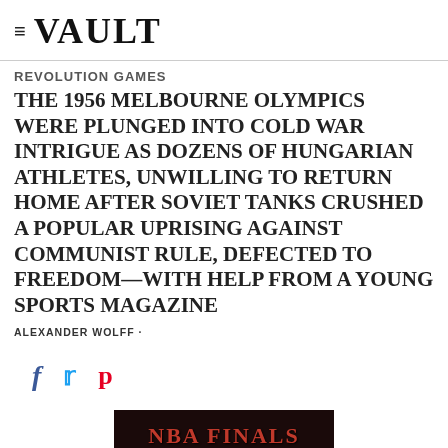≡ VAULT
REVOLUTION GAMES
THE 1956 MELBOURNE OLYMPICS WERE PLUNGED INTO COLD WAR INTRIGUE AS DOZENS OF HUNGARIAN ATHLETES, UNWILLING TO RETURN HOME AFTER SOVIET TANKS CRUSHED A POPULAR UPRISING AGAINST COMMUNIST RULE, DEFECTED TO FREEDOM—WITH HELP FROM A YOUNG SPORTS MAGAZINE
ALEXANDER WOLFF ·
[Figure (other): Social sharing icons: Facebook (f), Twitter (bird), Pinterest (p)]
[Figure (photo): Partial image showing NBA FINALS text on dark background]